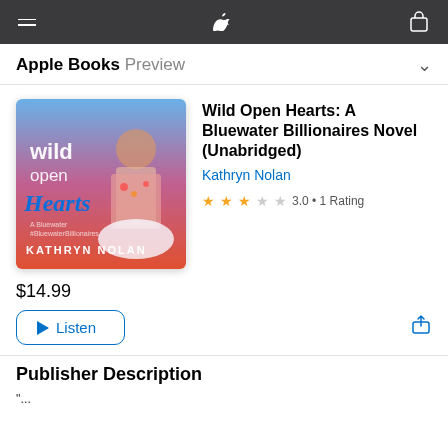Apple Books Preview
Wild Open Hearts: A Bluewater Billionaires Novel (Unabridged)
Kathryn Nolan
3.0 • 1 Rating
$14.99
Listen
Publisher Description
"...